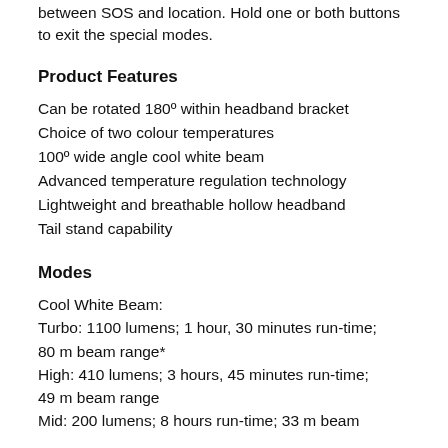between SOS and location. Hold one or both buttons to exit the special modes.
Product Features
Can be rotated 180º within headband bracket
Choice of two colour temperatures
100º wide angle cool white beam
Advanced temperature regulation technology
Lightweight and breathable hollow headband
Tail stand capability
Modes
Cool White Beam:
Turbo: 1100 lumens; 1 hour, 30 minutes run-time; 80 m beam range*
High: 410 lumens; 3 hours, 45 minutes run-time; 49 m beam range
Mid: 200 lumens; 8 hours run-time; 33 m beam